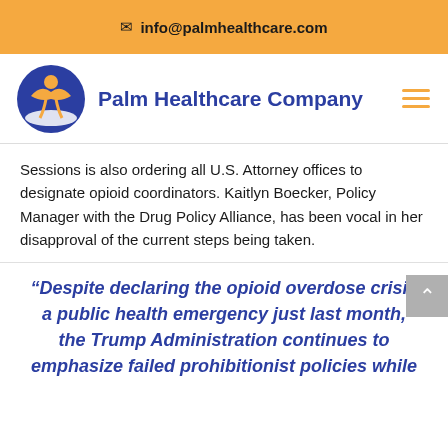✉ info@palmhealthcare.com
[Figure (logo): Palm Healthcare Company logo: blue circle with orange figure and white wave, company name in bold blue text to the right, hamburger menu icon in orange on far right]
Sessions is also ordering all U.S. Attorney offices to designate opioid coordinators. Kaitlyn Boecker, Policy Manager with the Drug Policy Alliance, has been vocal in her disapproval of the current steps being taken.
“Despite declaring the opioid overdose crisis a public health emergency just last month, the Trump Administration continues to emphasize failed prohibitionist policies while